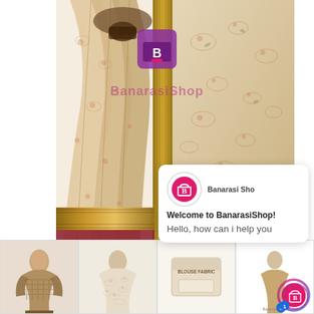[Figure (photo): Main product image of a beige/cream Banarasi silk saree with floral print and golden border, displayed draped on a mannequin or model. BanarasiShop watermark visible in center.]
[Figure (photo): Thumbnail 1: Woman wearing a brown/taupe Banarasi saree with checked pattern]
[Figure (photo): Thumbnail 2: Close-up of cream/white embroidered saree fabric]
[Figure (photo): Thumbnail 3: Blouse fabric packaging box labeled BLOUSE FABRIC]
[Figure (photo): Thumbnail 4: BanarasiShop logo/icon with spinning ring]
[Figure (screenshot): Chat popup widget from BanarasiShop showing welcome message: Welcome to BanarasiShop! Hello, how can i help you]
Welcome to BanarasiShop!
Hello, how can i help you